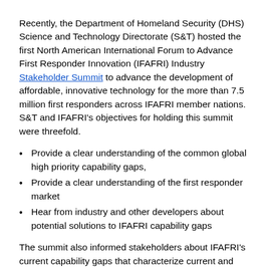Recently, the Department of Homeland Security (DHS) Science and Technology Directorate (S&T) hosted the first North American International Forum to Advance First Responder Innovation (IFAFRI) Industry Stakeholder Summit to advance the development of affordable, innovative technology for the more than 7.5 million first responders across IFAFRI member nations. S&T and IFAFRI's objectives for holding this summit were threefold.
Provide a clear understanding of the common global high priority capability gaps,
Provide a clear understanding of the first responder market
Hear from industry and other developers about potential solutions to IFAFRI capability gaps
The summit also informed stakeholders about IFAFRI's current capability gaps that characterize current and future technology requirements.